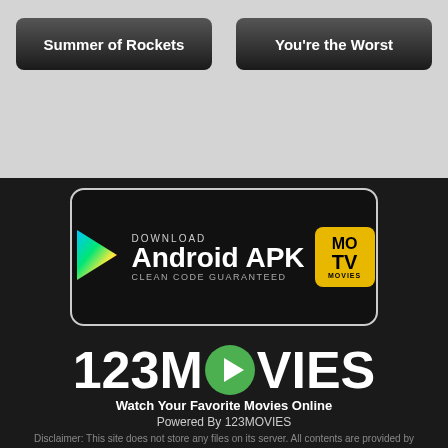Summer of Rockets
You're the Worst
[Figure (screenshot): Download Android APK banner with Google Play arrow logo, MOTV Movies badge, text: DOWNLOAD Android APK CLEAN CODE GUARANTEED]
[Figure (logo): 123MOVIES logo with green play button replacing the O, tagline: Watch Your Favorite Movies Online, Powered By 123MOVIES]
Disclaimer: This site does not store any files on its server. All contents are provided by